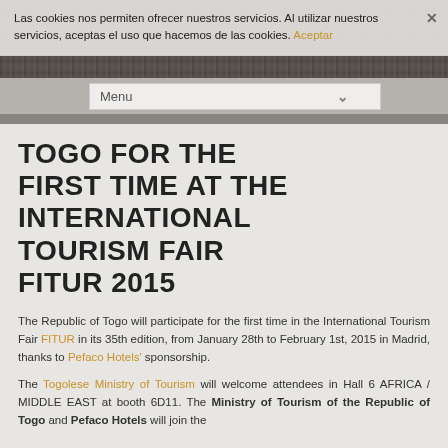Las cookies nos permiten ofrecer nuestros servicios. Al utilizar nuestros servicios, aceptas el uso que hacemos de las cookies. Aceptar
Menu
TOGO FOR THE FIRST TIME AT THE INTERNATIONAL TOURISM FAIR FITUR 2015
The Republic of Togo will participate for the first time in the International Tourism Fair FITUR in its 35th edition, from January 28th to February 1st, 2015 in Madrid, thanks to Pefaco Hotels' sponsorship.
The Togolese Ministry of Tourism will welcome attendees in Hall 6 AFRICA / MIDDLE EAST at booth 6D11. The Ministry of Tourism of the Republic of Togo and Pefaco Hotels will join the